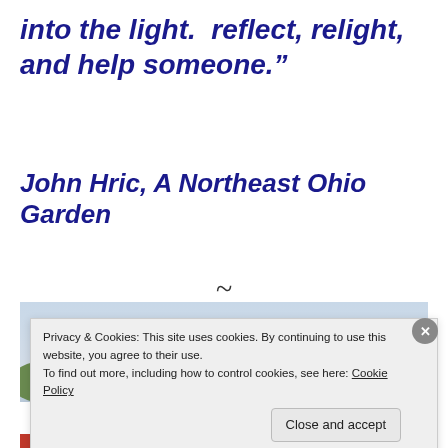into the light.  reflect, relight, and help someone.”
John Hric, A Northeast Ohio Garden
~
[Figure (photo): Outdoor garden/landscape photo showing sky and trees, partially visible behind cookie consent banner]
Privacy & Cookies: This site uses cookies. By continuing to use this website, you agree to their use.
To find out more, including how to control cookies, see here: Cookie Policy
Close and accept